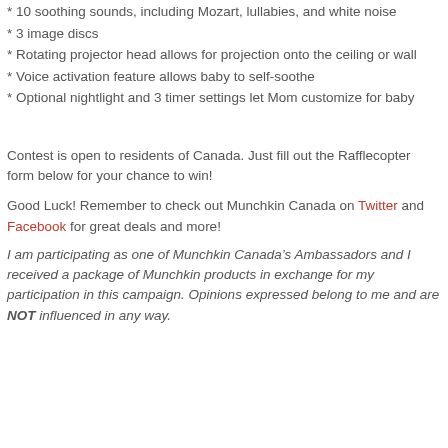* 10 soothing sounds, including Mozart, lullabies, and white noise
* 3 image discs
* Rotating projector head allows for projection onto the ceiling or wall
* Voice activation feature allows baby to self-soothe
* Optional nightlight and 3 timer settings let Mom customize for baby
Contest is open to residents of Canada. Just fill out the Rafflecopter form below for your chance to win!
Good Luck! Remember to check out Munchkin Canada on Twitter and Facebook for great deals and more!
I am participating as one of Munchkin Canada’s Ambassadors and I received a package of Munchkin products in exchange for my participation in this campaign. Opinions expressed belong to me and are NOT influenced in any way.